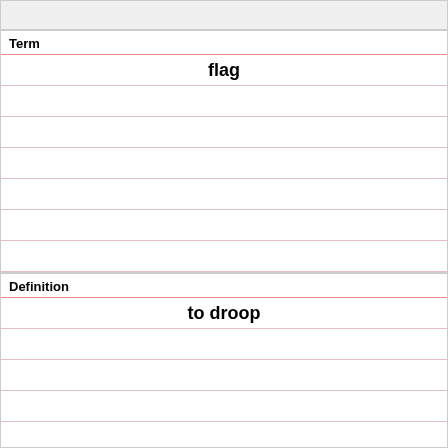| Term | Definition |
| --- | --- |
| flag | to droop |